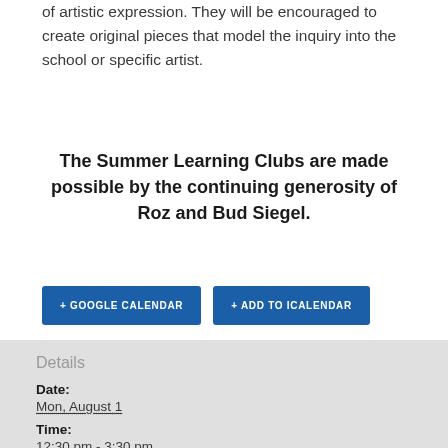of artistic expression. They will be encouraged to create original pieces that model the inquiry into the school or specific artist.
The Summer Learning Clubs are made possible by the continuing generosity of Roz and Bud Siegel.
+ GOOGLE CALENDAR
+ ADD TO ICALENDAR
Details
Date:
Mon, August 1
Time:
12:30 pm - 3:30 pm
EDT
Event Category:
Kids
Event T…